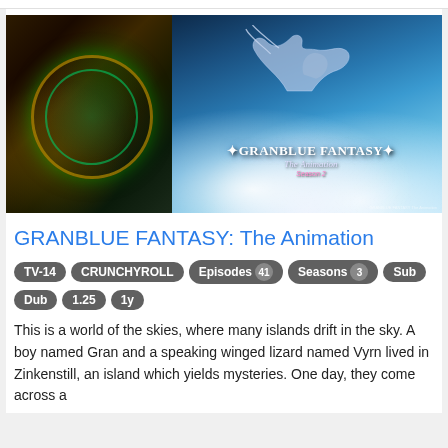[Figure (illustration): Split anime promotional image for Granblue Fantasy: The Animation. Left half shows dark fantasy artwork with characters and glowing gear/orb. Right half shows blue sky with clouds, a dragon silhouette, and the text 'GRANBLUE FANTASY The Animation Season 2' overlaid.]
GRANBLUE FANTASY: The Animation
TV-14  CRUNCHYROLL  Episodes 41  Seasons 3  Sub  Dub  1.25  1y
This is a world of the skies, where many islands drift in the sky. A boy named Gran and a speaking winged lizard named Vyrn lived in Zinkenstill, an island which yields mysteries. One day, they come across a